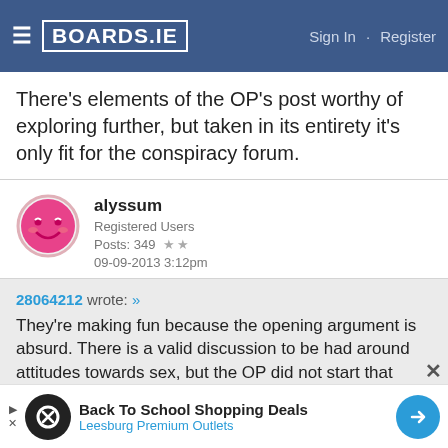BOARDS.IE  Sign In · Register
There's elements of the OP's post worthy of exploring further, but taken in its entirety it's only fit for the conspiracy forum.
alyssum
Registered Users
Posts: 349 ★★
09-09-2013 3:12pm
28064212 wrote: »
They're making fun because the opening argument is absurd. There is a valid discussion to be had around attitudes towards sex, but the OP did not start that discussion. The OP claims there is a large group of women who have a formal
Back To School Shopping Deals
Leesburg Premium Outlets